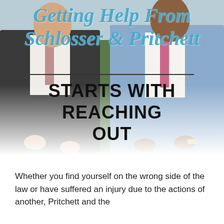[Figure (photo): Two men in suits standing outdoors against green hedges, fading to white at the bottom. The image serves as a hero background for a law firm page.]
Getting Help From Schlosser & Pritchett
STARTS WITH REACHING OUT
Whether you find yourself on the wrong side of the law or have suffered an injury due to the actions of another, Pritchett and the...